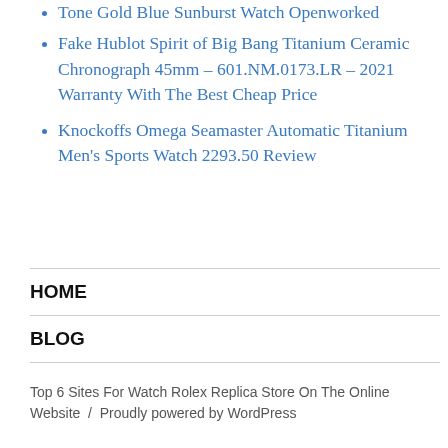Tone Gold Blue Sunburst Watch Openworked
Fake Hublot Spirit of Big Bang Titanium Ceramic Chronograph 45mm – 601.NM.0173.LR – 2021 Warranty With The Best Cheap Price
Knockoffs Omega Seamaster Automatic Titanium Men's Sports Watch 2293.50 Review
HOME
BLOG
Top 6 Sites For Watch Rolex Replica Store On The Online Website  /  Proudly powered by WordPress